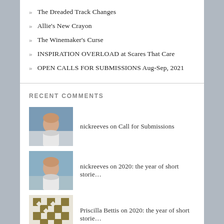» The Dreaded Track Changes
» Allie's New Crayon
» The Winemaker's Curse
» INSPIRATION OVERLOAD at Scares That Care
» OPEN CALLS FOR SUBMISSIONS Aug-Sep, 2021
RECENT COMMENTS
nickreeves on Call for Submissions
nickreeves on 2020: the year of short storie…
Priscilla Bettis on 2020: the year of short storie…
sietchjameseguin on The Submission Wait